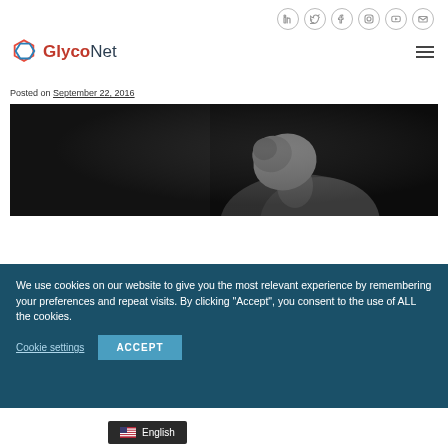GlycoNet website header with social icons (LinkedIn, Twitter, Facebook, Instagram, YouTube, Email) and navigation menu
Posted on September 22, 2016
[Figure (photo): Black and white photograph of a bald person bowing their head, dark moody background]
We use cookies on our website to give you the most relevant experience by remembering your preferences and repeat visits. By clicking “Accept”, you consent to the use of ALL the cookies.
Cookie settings  ACCEPT
English